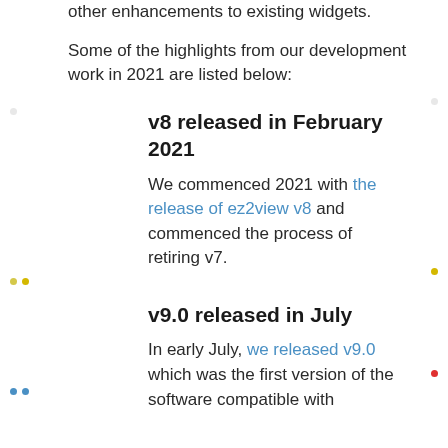other enhancements to existing widgets.
Some of the highlights from our development work in 2021 are listed below:
v8 released in February 2021
We commenced 2021 with the release of ez2view v8 and commenced the process of retiring v7.
v9.0 released in July
In early July, we released v9.0 which was the first version of the software compatible with